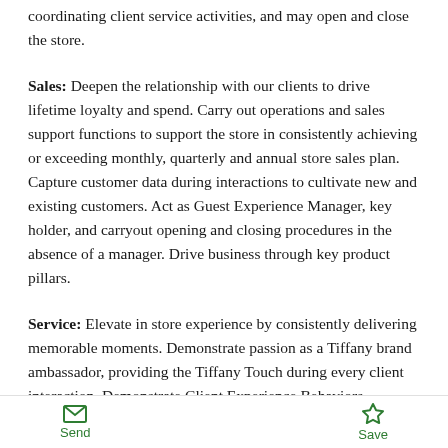coordinating client service activities, and may open and close the store.
Sales: Deepen the relationship with our clients to drive lifetime loyalty and spend. Carry out operations and sales support functions to support the store in consistently achieving or exceeding monthly, quarterly and annual store sales plan. Capture customer data during interactions to cultivate new and existing customers. Act as Guest Experience Manager, key holder, and carryout opening and closing procedures in the absence of a manager. Drive business through key product pillars.
Service: Elevate in store experience by consistently delivering memorable moments. Demonstrate passion as a Tiffany brand ambassador, providing the Tiffany Touch during every client interaction. Demonstrate Client Experience Behaviors identified within the TEI program
Send  Save